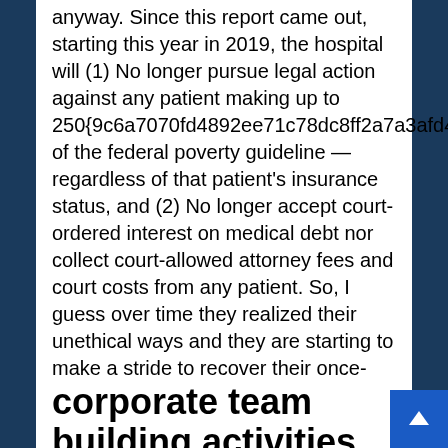anyway. Since this report came out, starting this year in 2019, the hospital will (1) No longer pursue legal action against any patient making up to 250{9c6a7070fd4892ee71c78dc8ff2a7a3afd4fe66496d8124646d350ff53950fa0} of the federal poverty guideline — regardless of that patient's insurance status, and (2) No longer accept court-ordered interest on medical debt nor collect court-allowed attorney fees and court costs from any patient. So, I guess over time they realized their unethical ways and they are starting to make a stride to recover their once-respected name.
corporate team building activities singapore,